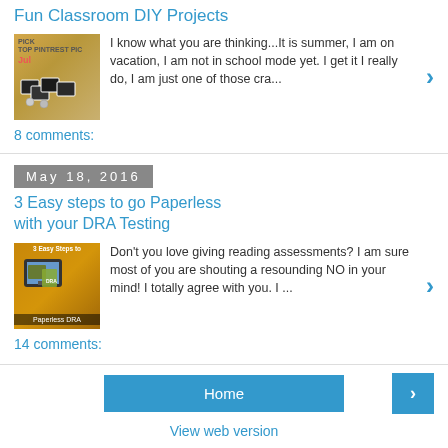Fun Classroom DIY Projects
[Figure (photo): Thumbnail image for Fun Classroom DIY Projects post showing Pinterest picks for July]
I know what you are thinking...It is summer, I am on vacation, I am not in school mode yet. I get it I really do, I am just one of those cra...
8 comments:
May 18, 2016
3 Easy steps to go Paperless with your DRA Testing
[Figure (photo): Thumbnail image for 3 Easy Steps to Paperless DRA post showing a tablet and books]
Don't you love giving reading assessments? I am sure most of you are shouting a resounding NO in your mind! I totally agree with you. I ...
14 comments:
Home
View web version